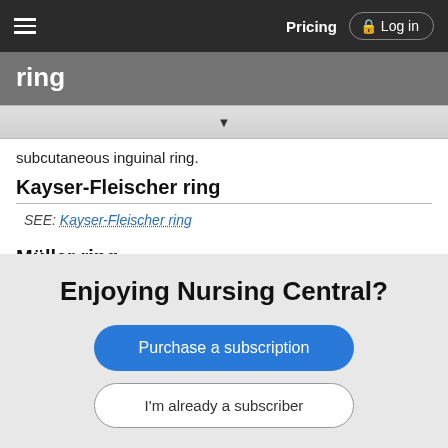Pricing  Log in
ring
subcutaneous inguinal ring.
Kayser-Fleischer ring
SEE: Kayser-Fleischer ring
Müller ring
SEE: Müller, Johannes P.
Enjoying Nursing Central?
Purchase a subscription
I'm already a subscriber